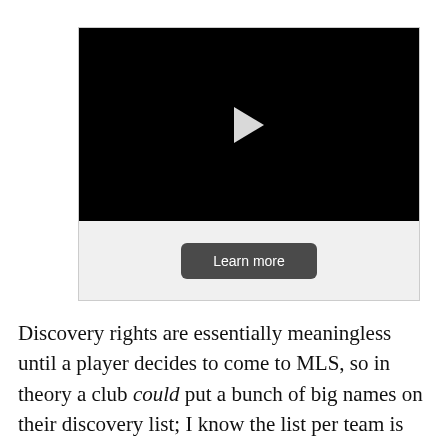[Figure (screenshot): A video player with black screen and white play button in center, with a 'Learn more' button below on a light grey background]
Discovery rights are essentially meaningless until a player decides to come to MLS, so in theory a club could put a bunch of big names on their discovery list; I know the list per team is limited in size, though, so it's not like an MLS club can just submit a list of the 20 best players in the world and hope that someday they'll